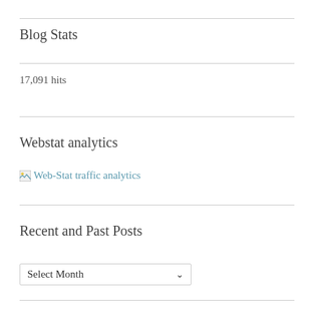Blog Stats
17,091 hits
Webstat analytics
[Figure (other): Broken image placeholder with link text 'Web-Stat traffic analytics']
Recent and Past Posts
Select Month (dropdown selector)